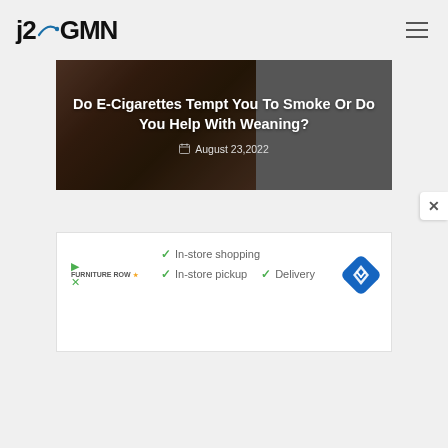j2GMN
[Figure (screenshot): Hero banner image of hands holding an e-cigarette device with dark brown/earthy background on the left and grey on the right]
Do E-Cigarettes Tempt You To Smoke Or Do You Help With Weaning?
August 23,2022
[Figure (screenshot): Advertisement banner showing Furniture Row store with checkmarks for In-store shopping, In-store pickup, and Delivery, plus a blue diamond navigation icon]